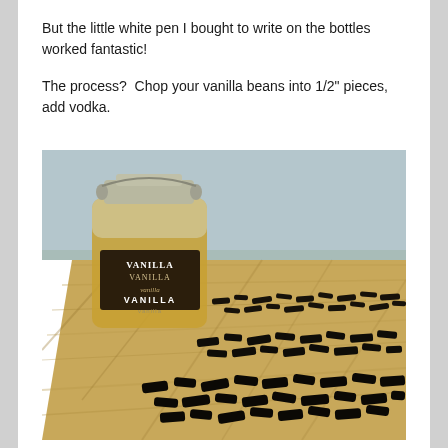But the little white pen I bought to write on the bottles worked fantastic!

The process?  Chop your vanilla beans into 1/2" pieces, add vodka.
[Figure (photo): A glass jar labeled 'VANILLA' in multiple fonts/styles sitting on a wooden cutting board, surrounded by chopped dark vanilla bean pieces arranged in rows.]